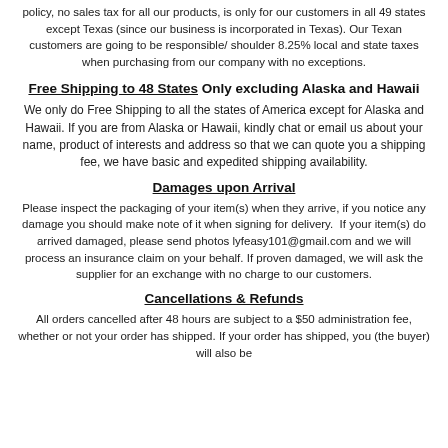policy, no sales tax for all our products, is only for our customers in all 49 states except Texas (since our business is incorporated in Texas). Our Texan customers are going to be responsible/ shoulder 8.25% local and state taxes when purchasing from our company with no exceptions.
Free Shipping to 48 States Only excluding Alaska and Hawaii
We only do Free Shipping to all the states of America except for Alaska and Hawaii. If you are from Alaska or Hawaii, kindly chat or email us about your name, product of interests and address so that we can quote you a shipping fee, we have basic and expedited shipping availability.
Damages upon Arrival
Please inspect the packaging of your item(s) when they arrive, if you notice any damage you should make note of it when signing for delivery. If your item(s) do arrived damaged, please send photos lyfeasy101@gmail.com and we will process an insurance claim on your behalf. If proven damaged, we will ask the supplier for an exchange with no charge to our customers.
Cancellations & Refunds
All orders cancelled after 48 hours are subject to a $50 administration fee, whether or not your order has shipped. If your order has shipped, you (the buyer) will also be